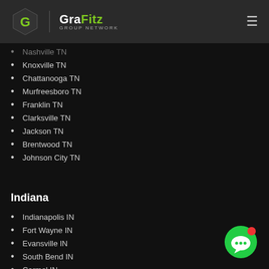GraFitz GROUP NETWORK
Nashville TN
Knoxville TN
Chattanooga TN
Murfreesboro TN
Franklin TN
Clarksville TN
Jackson TN
Brentwood TN
Johnson City TN
Indiana
Indianapolis IN
Fort Wayne IN
Evansville IN
South Bend IN
Carmel IN
Bloomington IN
Lafayette IN
Elkhart IN
Fishers IN
Terre Haute IN